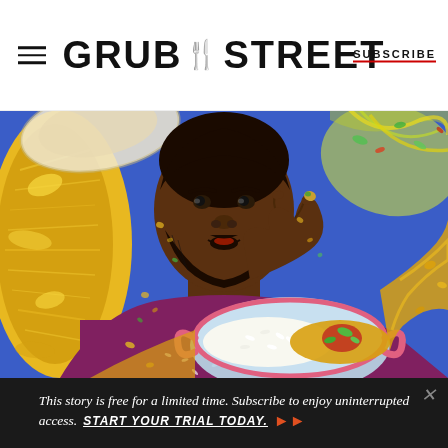GRUB STREET | SUBSCRIBE
[Figure (illustration): Colorful illustrated artwork showing a Black man with a beard wearing a purple t-shirt, eating food with his fingers. He is surrounded by dishes including a bowl of rice and curry. The background is vibrant blue with swirling yellow sauce, food particles, and decorative plates. The style is painterly and vivid.]
This story is free for a limited time. Subscribe to enjoy uninterrupted access. START YOUR TRIAL TODAY. ▶▶